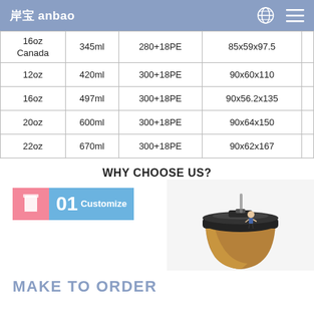岸宝 anbao
| Size | Volume | Paper | Dimensions |
| --- | --- | --- | --- |
| 16oz / Canada | 345ml | 280+18PE | 85x59x97.5 |
| 12oz | 420ml | 300+18PE | 90x60x110 |
| 16oz | 497ml | 300+18PE | 90x56.2x135 |
| 20oz | 600ml | 300+18PE | 90x64x150 |
| 22oz | 670ml | 300+18PE | 90x62x167 |
WHY CHOOSE US?
[Figure (infographic): 01 Customize badge with pink cup icon and blue background]
[Figure (photo): Coffee cup with black lid close-up photo]
MAKE TO ORDER